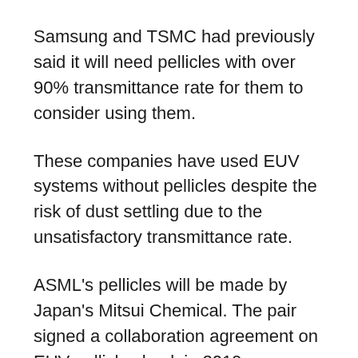Samsung and TSMC had previously said it will need pellicles with over 90% transmittance rate for them to consider using them.
These companies have used EUV systems without pellicles despite the risk of dust settling due to the unsatisfactory transmittance rate.
ASML's pellicles will be made by Japan's Mitsui Chemical. The pair signed a collaboration agreement on EUV pellicles back in 2019.
South Korean firms FST and S&S Tech are also developing EUV pellicles. Last year, FST had said it plans to launch a silicon carbide based pellicle with over 90% transmittance within the first half of this...